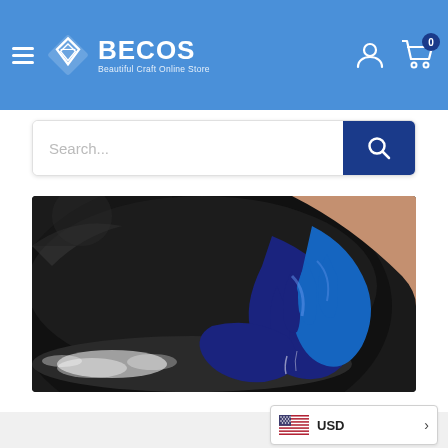[Figure (screenshot): BECOS Beautiful Craft Online Store website header with blue background, hamburger menu, diamond logo, account icon, and cart icon with 0 badge]
[Figure (photo): Hands with blue indigo dye working fabric in a large dark vat, craft dyeing process]
+ View more
[Figure (other): USD currency selector widget with US flag and arrow]